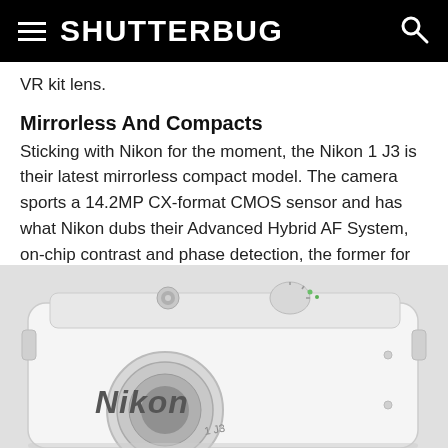≡ SHUTTERBUG 🔍
VR kit lens.
Mirrorless And Compacts
Sticking with Nikon for the moment, the Nikon 1 J3 is their latest mirrorless compact model. The camera sports a 14.2MP CX-format CMOS sensor and has what Nikon dubs their Advanced Hybrid AF System, on-chip contrast and phase detection, the former for precision and the latter for speed.
[Figure (photo): White Nikon 1 J3 mirrorless compact camera photographed from a slight angle, showing the top plate with shutter button and mode dial, and the front face with lens mount. The camera body is white/silver and the Nikon brand name is visible on the front in dark lettering. Partial model number visible on lens area.]